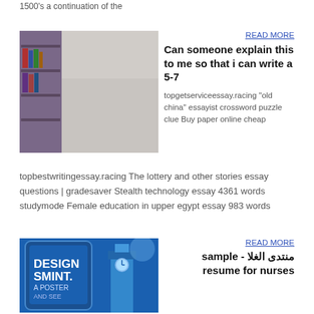1500's a continuation of the
[Figure (photo): Two people standing together in front of a bookshelf — a woman in a purple cardigan and a man in a grey sweater]
READ MORE
Can someone explain this to me so that i can write a 5-7
topgetserviceessay.racing "old china" essayist crossword puzzle clue Buy paper online cheap topbestwritingessay.racing The lottery and other stories essay questions | gradesaver Stealth technology essay 4361 words studymode Female education in upper egypt essay 983 words
[Figure (illustration): Blue poster design showing text DESIGN SMINT. A POSTER with a Big Ben backdrop]
READ MORE
منتدى الغلا - sample resume for nurses